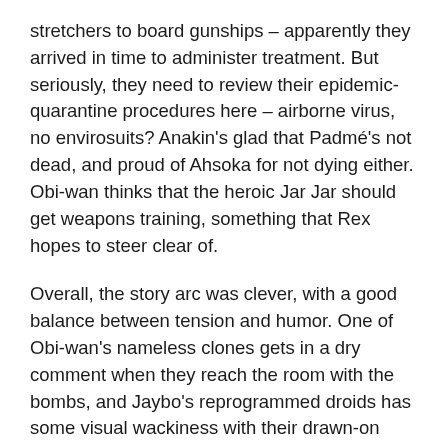stretchers to board gunships – apparently they arrived in time to administer treatment. But seriously, they need to review their epidemic-quarantine procedures here – airborne virus, no envirosuits? Anakin's glad that Padmé's not dead, and proud of Ahsoka for not dying either. Obi-wan thinks that the heroic Jar Jar should get weapons training, something that Rex hopes to steer clear of.
Overall, the story arc was clever, with a good balance between tension and humor. One of Obi-wan's nameless clones gets in a dry comment when they reach the room with the bombs, and Jaybo's reprogrammed droids has some visual wackiness with their drawn-on faces and servant activities. York did a fine job as the German mad scientist, albeit the character is such a caricature of that stereotype, and BJ Hughes as Jar Jar Binks, while not sounding quite like Ahmed Best, does a good job – and perhaps the change in voice helps to differentiate the